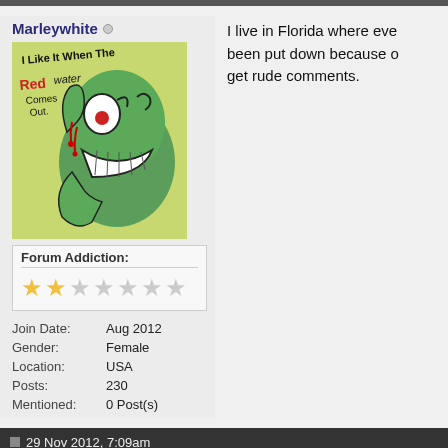Marleywhite
[Figure (illustration): A hand-drawn illustration of a green cartoon monster/zombie character with one large eye, sharp teeth, holding a bloody finger. Text on image reads: 'I Like It When The Red Water Comes Out.']
Forum Addiction:
[Figure (other): Star rating: 2 filled stars out of 7 total stars]
| Join Date: | Aug 2012 |
| Gender: | Female |
| Location: | USA |
| Posts: | 230 |
| Mentioned: | 0 Post(s) |
I live in Florida where eve been put down because o get rude comments.
29 Nov 2012, 7:09am
takethebiscuit
Yes. I've had people take